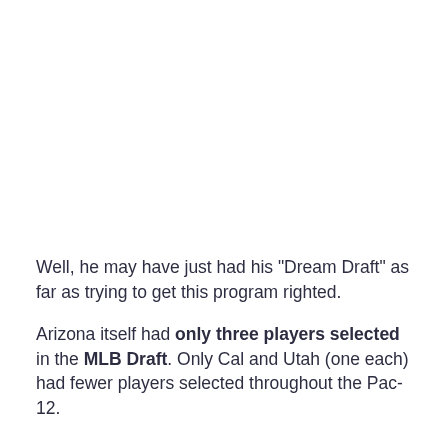Well, he may have just had his "Dream Draft" as far as trying to get this program righted.
Arizona itself had only three players selected in the MLB Draft. Only Cal and Utah (one each) had fewer players selected throughout the Pac-12.